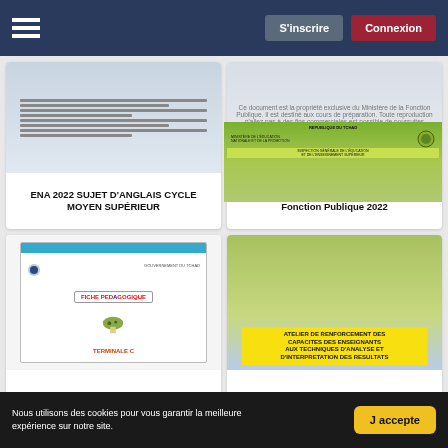S'inscrire | Connexion
[Figure (screenshot): Thumbnail of ENA 2022 SUJET D'ANGLAIS CYCLE MOYEN SUPÉRIEUR document]
ENA 2022 SUJET D'ANGLAIS CYCLE MOYEN SUPÉRIEUR
[Figure (screenshot): Thumbnail of Cours Connaissance du statut général de la Fonction Publique 2022 document]
Cours Connaissance du statut général de la Fonction Publique 2022
[Figure (screenshot): Thumbnail of FICHE PÉDAGOGIQUE TERMINALE C document]
[Figure (screenshot): Thumbnail of ATELIER DE RENFORCEMENT DES CAPACITES DES ENSEIGNANTS AUX TECHNIQUES D'ANALYSE ET D'INTERPRETATION DES RESULTATS document]
ATELIER DE RENFORCEMENT DES CAPACITES DES ENSEIGNANTS AUX TECHNIQUES D'ANALYSE ET D'INTERPRETATION DES RESULTATS
Nous utilisons des cookies pour vous garantir la meilleure expérience sur notre site.
J accepte